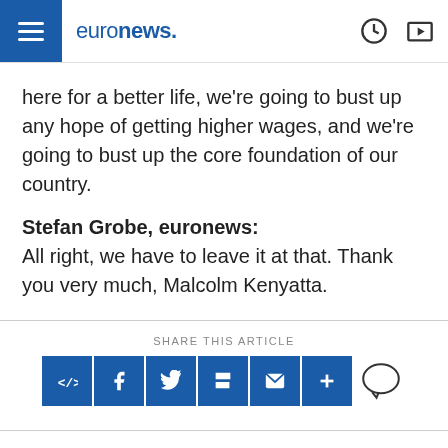euronews.
here for a better life, we’re going to bust up any hope of getting higher wages, and we’re going to bust up the core foundation of our country.
Stefan Grobe, euronews: All right, we have to leave it at that. Thank you very much, Malcolm Kenyatta.
SHARE THIS ARTICLE
YOU MIGHT ALSO LIKE